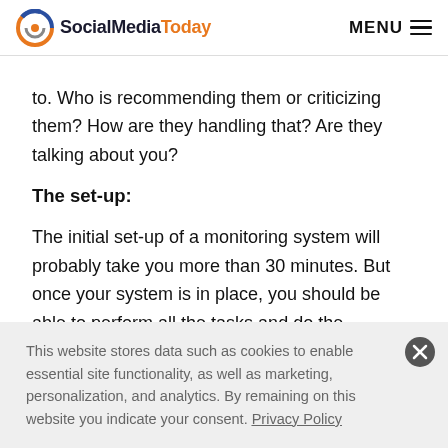SocialMediaToday | MENU
to. Who is recommending them or criticizing them? How are they handling that? Are they talking about you?
The set-up:
The initial set-up of a monitoring system will probably take you more than 30 minutes. But once your system is in place, you should be able to perform all the tasks and do the documentation quickly. As
This website stores data such as cookies to enable essential site functionality, as well as marketing, personalization, and analytics. By remaining on this website you indicate your consent. Privacy Policy